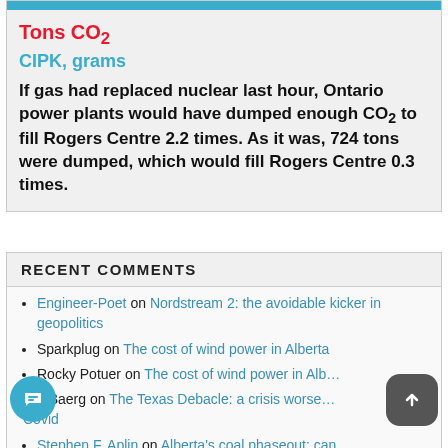Tons CO₂
CIPK, grams
If gas had replaced nuclear last hour, Ontario power plants would have dumped enough CO₂ to fill Rogers Centre 2.2 times. As it was, 724 tons were dumped, which would fill Rogers Centre 0.3 times.
RECENT COMMENTS
Engineer-Poet on Nordstream 2: the avoidable kicker in geopolitics
Sparkplug on The cost of wind power in Alberta
Rocky Potuer on The cost of wind power in Alberta
Jim.Baerg on The Texas Debacle: a crisis worse than Covid
Stephen F. Aplin on Alberta's coal phaseout: can…